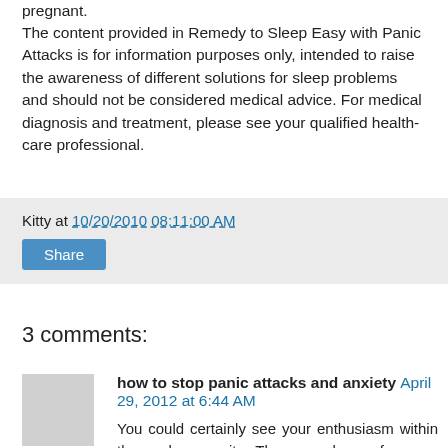pregnant.
The content provided in Remedy to Sleep Easy with Panic Attacks is for information purposes only, intended to raise the awareness of different solutions for sleep problems and should not be considered medical advice. For medical diagnosis and treatment, please see your qualified health-care professional.
Kitty at 10/20/2010 08:11:00 AM
Share
3 comments:
how to stop panic attacks and anxiety April 29, 2012 at 6:44 AM
You could certainly see your enthusiasm within the work you write. The arena hopes for more passionate writers like you who aren't afraid to mention how they believe. Always